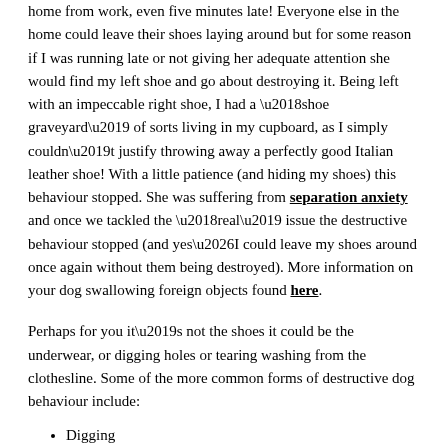home from work, even five minutes late! Everyone else in the home could leave their shoes laying around but for some reason if I was running late or not giving her adequate attention she would find my left shoe and go about destroying it. Being left with an impeccable right shoe, I had a ‘shoe graveyard’ of sorts living in my cupboard, as I simply couldn’t justify throwing away a perfectly good Italian leather shoe! With a little patience (and hiding my shoes) this behaviour stopped. She was suffering from separation anxiety and once we tackled the ‘real’ issue the destructive behaviour stopped (and yes…I could leave my shoes around once again without them being destroyed). More information on your dog swallowing foreign objects found here.
Perhaps for you it’s not the shoes it could be the underwear, or digging holes or tearing washing from the clothesline. Some of the more common forms of destructive dog behaviour include:
Digging
Chewing skirting boards in the house
Tearing washing off the clothesline
Ripping apart cushions
Scratching doors